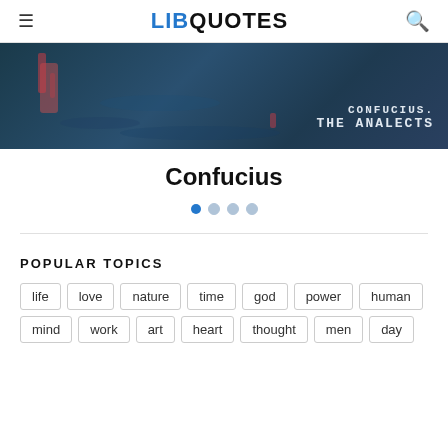LIB QUOTES
[Figure (photo): Dark moody banner image with text overlay reading 'CONFUCIUS. THE ANALECTS' in monospace font, showing reflections in water with red highlights]
Confucius
Navigation dots: 4 dots, first active (blue), rest inactive (grey)
POPULAR TOPICS
life
love
nature
time
god
power
human
mind
work
art
heart
thought
men
day